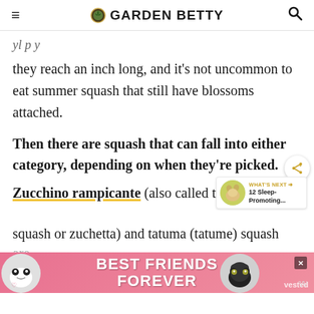GARDEN BETTY
they reach an inch long, and it's not uncommon to eat summer squash that still have blossoms attached.
Then there are squash that can fall into either category, depending on when they're picked.
Zucchino rampicante (also called trombone squash or zuchetta) and tatuma (tatume) squash are harvested
[Figure (screenshot): Advertisement banner reading BEST FRIENDS FOREVER with cat images on either side]
vested